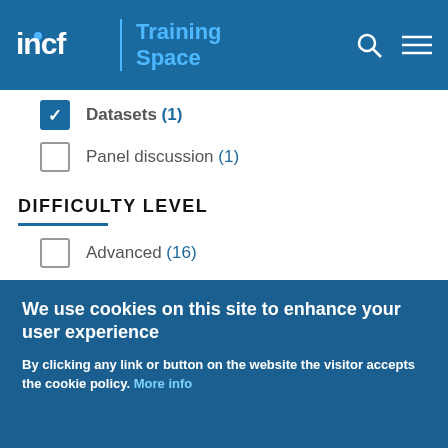incf | Training Space
Datasets (1) [checked]
Panel discussion (1)
DIFFICULTY LEVEL
Advanced (16)
Intermediate (12) [checked]
Beginner (10)
We use cookies on this site to enhance your user experience
By clicking any link or button on the website the visitor accepts the cookie policy. More info